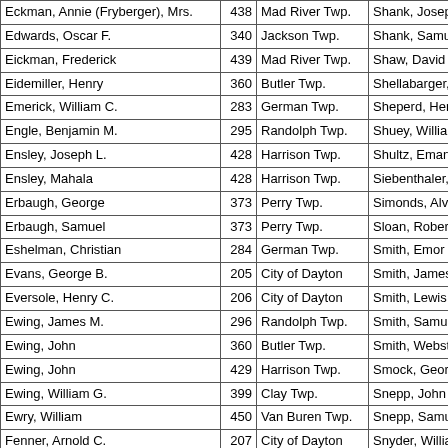| Eckman, Annie (Fryberger), Mrs. | 438 | Mad River Twp. | Shank, Joseph W. |
| Edwards, Oscar F. | 340 | Jackson Twp. | Shank, Samuel |
| Eickman, Frederick | 439 | Mad River Twp. | Shaw, David |
| Eidemiller, Henry | 360 | Butler Twp. | Shellabarger, Sa… |
| Emerick, William C. | 283 | German Twp. | Sheperd, Henry … |
| Engle, Benjamin M. | 295 | Randolph Twp. | Shuey, William J… |
| Ensley, Joseph L. | 428 | Harrison Twp. | Shultz, Emanuel,… |
| Ensley, Mahala | 428 | Harrison Twp. | Siebenthaler, Joh… |
| Erbaugh, George | 373 | Perry Twp. | Simonds, Alvan A… |
| Erbaugh, Samuel | 373 | Perry Twp. | Sloan, Robert |
| Eshelman, Christian | 284 | German Twp. | Smith, Emor E. |
| Evans, George B. | 205 | City of Dayton | Smith, James R. |
| Eversole, Henry C. | 206 | City of Dayton | Smith, Lewis R. |
| Ewing, James M. | 296 | Randolph Twp. | Smith, Samuel |
| Ewing, John | 360 | Butler Twp. | Smith, Webster S… |
| Ewing, John | 429 | Harrison Twp. | Smock, George N… |
| Ewing, William G. | 399 | Clay Twp. | Snepp, John T. |
| Ewry, William | 450 | Van Buren Twp. | Snepp, Samuel |
| Fenner, Arnold C. | 207 | City of Dayton | Snyder, William H… |
| Ferguson, Hugh | 400 | Clay Twp. | Sollenberger, Joh… |
| Ferneding, Henry | 207 | City of Dayton | Sollenberger, Joh… |
| Fitzgerald, John W. | 312 | Jefferson Twp. | Spitler, Harvey B… |
| Flory, Jacob | 400 | Clay Twp. | Staley, Charles H… |
| Flotron, Leo | 208 | City of Dayton | Stansell, Isaac |
| Folkerth, Jesse | 439 | Mad River Twp. | Staver, Benjamin… |
| Foster, Josiah | 374 | Perry Twp. | Staver, Daniel B. |
| Frank, Adam | 284 | German Twp. | Staver, Henry |